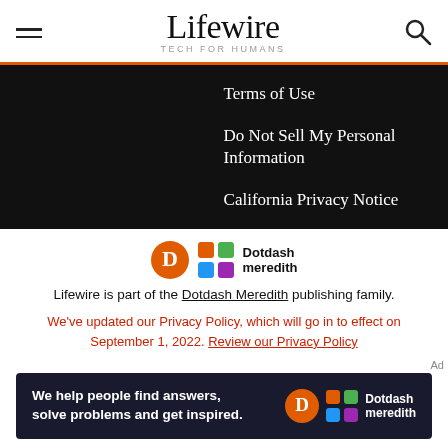Lifewire TECH FOR HUMANS
Terms of Use
Do Not Sell My Personal Information
California Privacy Notice
[Figure (logo): Dotdash Meredith logo with orange D circle and colorful grid icon]
Lifewire is part of the Dotdash Meredith publishing family.
We've updated our Privacy Policy, which will go in to effect on September 1, 2022. Review our Privacy Policy
Ad
[Figure (infographic): Dotdash Meredith ad banner: We help people find answers, solve problems and get inspired.]